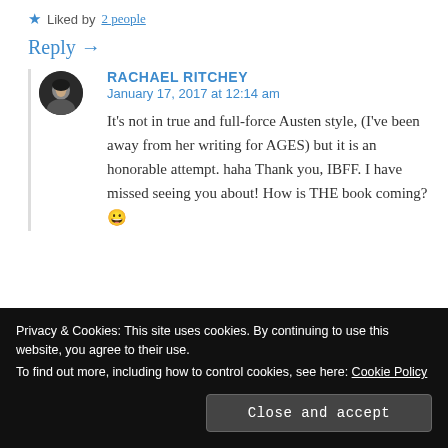★ Liked by 2 people
Reply →
RACHAEL RITCHEY
January 17, 2017 at 12:14 am
It's not in true and full-force Austen style, (I've been away from her writing for AGES) but it is an honorable attempt. haha Thank you, IBFF. I have missed seeing you about! How is THE book coming? 😀
Privacy & Cookies: This site uses cookies. By continuing to use this website, you agree to their use.
To find out more, including how to control cookies, see here: Cookie Policy
Close and accept